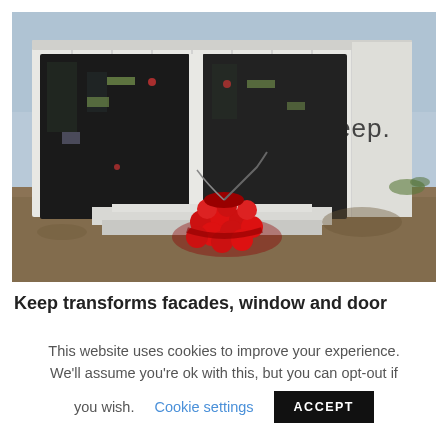[Figure (photo): A white shipping container with the word 'keep.' on its side, with large black window/door panels leaning against it, and a pile of red objects on a white surface in the foreground. Desert/dirt landscape in background.]
Keep transforms facades, window and door
This website uses cookies to improve your experience. We'll assume you're ok with this, but you can opt-out if you wish.
Cookie settings
ACCEPT